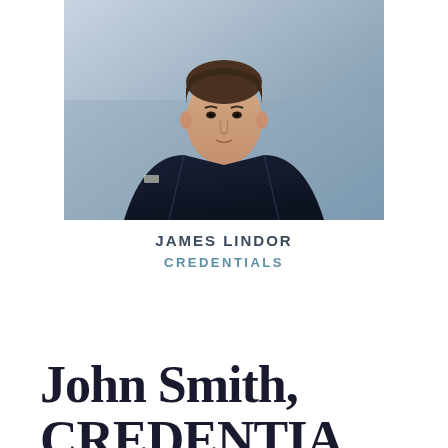[Figure (photo): Professional headshot of a man in a dark navy suit with a patterned tie, photographed from roughly chest level up against a light background]
JAMES LINDOR
CREDENTIALS
John Smith,
CREDENTIALS